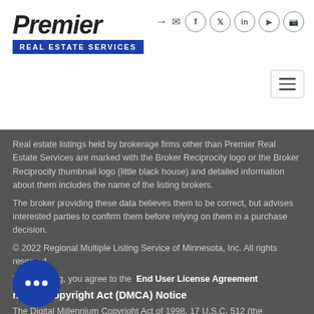[Figure (logo): Premier Real Estate Services logo with bold italic 'Premier' text and blue banner with 'REAL ESTATE SERVICES']
Real estate listings held by brokerage firms other than Premier Real Estate Services are marked with the Broker Reciprocity logo or the Broker Reciprocity thumbnail logo (little black house) and detailed information about them includes the name of the listing brokers.
The broker providing these data believes them to be correct, but advises interested parties to confirm them before relying on them in a purchase decision.
© 2022 Regional Multiple Listing Service of Minnesota, Inc. All rights reserved
By searching, you agree to the  End User License Agreement
nnium Copyright Act (DMCA) Notice
The Digital Millennium Copyright Act of 1998, 17 U.S.C. 512 (the